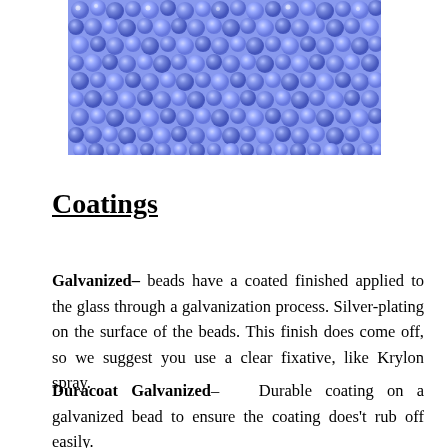[Figure (photo): Close-up photo of many small round blue/periwinkle glass seed beads filling the frame]
Coatings
Galvanized- beads have a coated finished applied to the glass through a galvanization process. Silver-plating on the surface of the beads. This finish does come off, so we suggest you use a clear fixative, like Krylon spray.
Duracoat Galvanized– Durable coating on a galvanized bead to ensure the coating does't rub off easily.